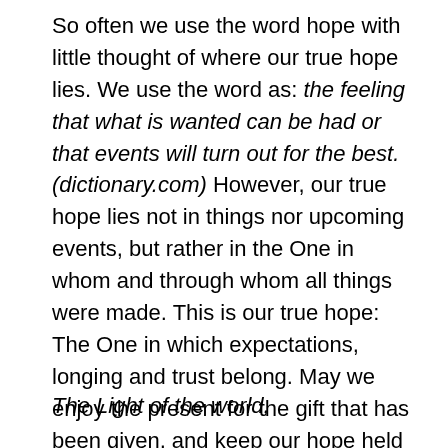So often we use the word hope with little thought of where our true hope lies. We use the word as: the feeling that what is wanted can be had or that events will turn out for the best. (dictionary.com) However, our true hope lies not in things nor upcoming events, but rather in the One in whom and through whom all things were made. This is our true hope: The One in which expectations, longing and trust belong. May we enjoy the present for the gift that has been given, and keep our hope held in The One who is our Hope.
The Light of the world,